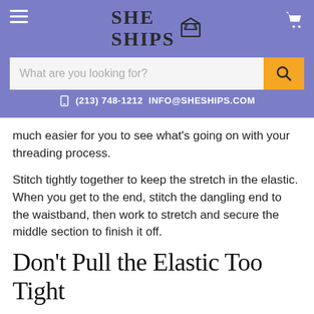SHE SHIPS | (213) 748-1212 INFO@SHESHIPS.COM
much easier for you to see what's going on with your threading process.
Stitch tightly together to keep the stretch in the elastic. When you get to the end, stitch the dangling end to the waistband, then work to stretch and secure the middle section to finish it off.
Don't Pull the Elastic Too Tight